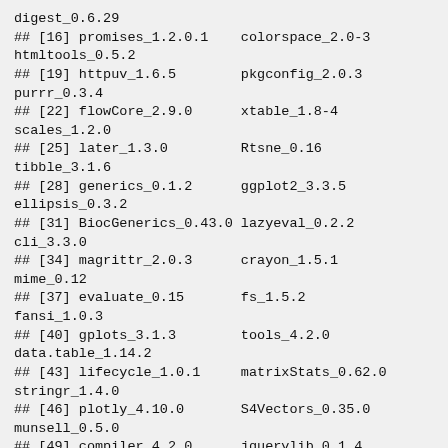digest_0.6.29
## [16] promises_1.2.0.1    colorspace_2.0-3
htmltools_0.5.2
## [19] httpuv_1.6.5        pkgconfig_2.0.3
purrr_0.3.4
## [22] flowCore_2.9.0      xtable_1.8-4
scales_1.2.0
## [25] later_1.3.0         Rtsne_0.16
tibble_3.1.6
## [28] generics_0.1.2      ggplot2_3.3.5
ellipsis_0.3.2
## [31] BiocGenerics_0.43.0 lazyeval_0.2.2
cli_3.3.0
## [34] magrittr_2.0.3      crayon_1.5.1
mime_0.12
## [37] evaluate_0.15       fs_1.5.2
fansi_1.0.3
## [40] gplots_3.1.3        tools_4.2.0
data.table_1.14.2
## [43] lifecycle_1.0.1     matrixStats_0.62.0
stringr_1.4.0
## [46] plotly_4.10.0       S4Vectors_0.35.0
munsell_0.5.0
## [49] compiler_4.2.0      jquerylib_0.1.4